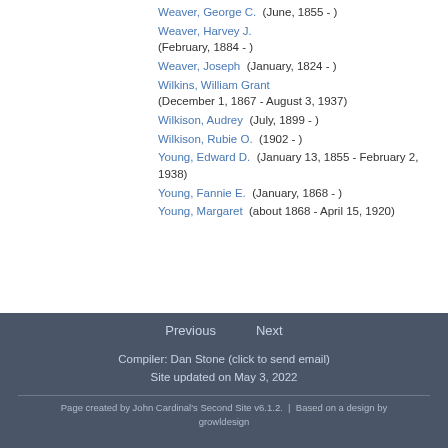Weaver, George C. (June, 1855 - )
Weaver, Harvey J. (February, 1884 - )
Weaver, Joseph (January, 1824 - )
Wilkins, William Grant (December 1, 1867 - August 3, 1937)
Wilkison, Audrey (July, 1899 - )
Wilkison, Rubie O. (1902 - )
Young, Edward D. (January 13, 1855 - February 2, 1938)
Young, Fannie E. (January, 1868 - )
Young, Margaret (about 1868 - April 15, 1920)
Previous  Next
Compiler: Dan Stone (click to send email)
Site updated on May 3, 2022
Page created by John Cardinal's Second Site v6.1.2.  |  Based on a design by growldesign